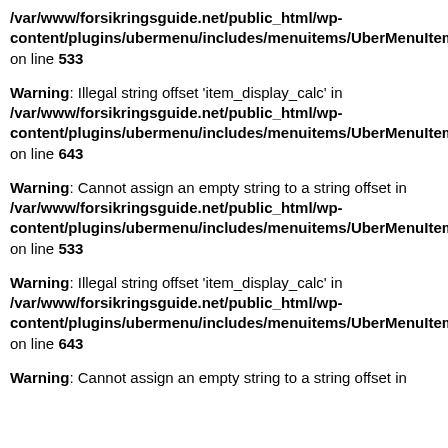/var/www/forsikringsguide.net/public_html/wp-content/plugins/ubermenu/includes/menuitems/UberMenuItem on line 533
Warning: Illegal string offset 'item_display_calc' in /var/www/forsikringsguide.net/public_html/wp-content/plugins/ubermenu/includes/menuitems/UberMenuItem on line 643
Warning: Cannot assign an empty string to a string offset in /var/www/forsikringsguide.net/public_html/wp-content/plugins/ubermenu/includes/menuitems/UberMenuItem on line 533
Warning: Illegal string offset 'item_display_calc' in /var/www/forsikringsguide.net/public_html/wp-content/plugins/ubermenu/includes/menuitems/UberMenuItem on line 643
Warning: Cannot assign an empty string to a string offset in